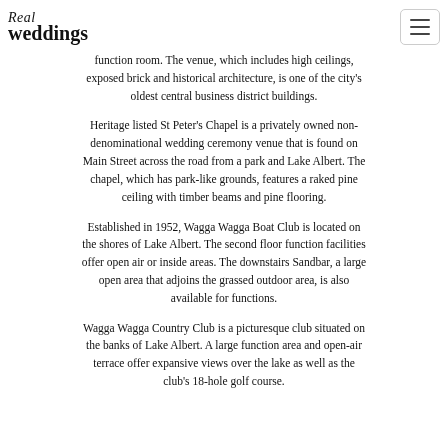Real weddings
function room. The venue, which includes high ceilings, exposed brick and historical architecture, is one of the city's oldest central business district buildings.
Heritage listed St Peter's Chapel is a privately owned non-denominational wedding ceremony venue that is found on Main Street across the road from a park and Lake Albert. The chapel, which has park-like grounds, features a raked pine ceiling with timber beams and pine flooring.
Established in 1952, Wagga Wagga Boat Club is located on the shores of Lake Albert. The second floor function facilities offer open air or inside areas. The downstairs Sandbar, a large open area that adjoins the grassed outdoor area, is also available for functions.
Wagga Wagga Country Club is a picturesque club situated on the banks of Lake Albert. A large function area and open-air terrace offer expansive views over the lake as well as the club's 18-hole golf course.